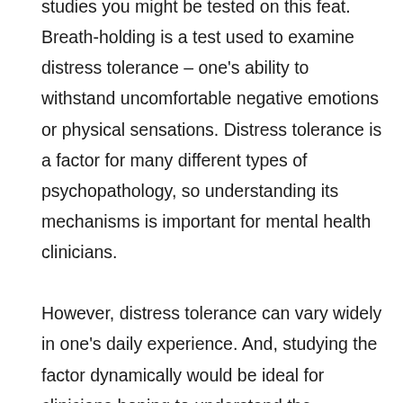studies you might be tested on this feat. Breath-holding is a test used to examine distress tolerance – one's ability to withstand uncomfortable negative emotions or physical sensations. Distress tolerance is a factor for many different types of psychopathology, so understanding its mechanisms is important for mental health clinicians.

However, distress tolerance can vary widely in one's daily experience. And, studying the factor dynamically would be ideal for clinicians hoping to understand the construct. Unfortunately, there